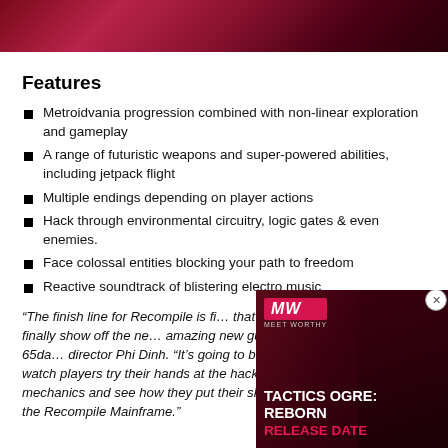[Figure (photo): Dark red/magenta abstract background image, possibly a game screenshot]
Features
Metroidvania progression combined with non-linear exploration and gameplay
A range of futuristic weapons and super-powered abilities, including jetpack flight
Multiple endings depending on player actions
Hack through environmental circuitry, logic gates & even enemies.
Face colossal entities blocking your path to freedom
Reactive soundtrack of blistering electro music
“The finish line for Recompile is fi… that we can finally show off the ne… amazing new guest track by 65da… director Phi Dinh. “It’s going to be great to watch players try their hands at the hacking mechanics and see how they put their skills to use in the Recompile Mainframe.”
[Figure (screenshot): Ad overlay: Tactics Ogre: Reborn Release Date, with MW logo and dark background image]